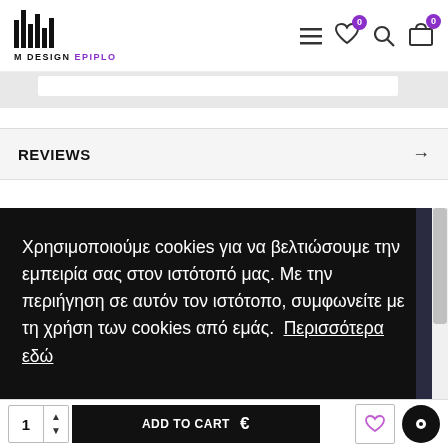M DESIGN EPIPLO
REVIEWS →
Χρησιμοποιούμε cookies για να βελτιώσουμε την εμπειρία σας στον ιστότοπό μας. Με την περιήγηση σε αυτόν τον ιστότοπο, συμφωνείτε με τη χρήση των cookies από εμάς. Περισσότερα εδώ
1 ADD TO CART €